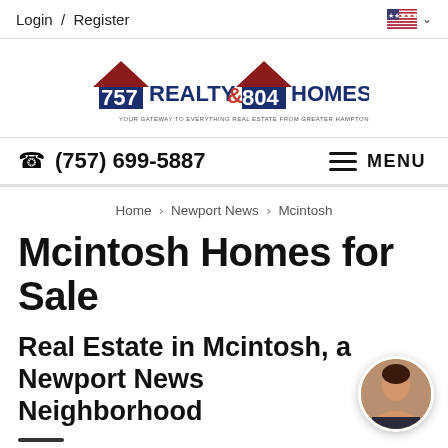Login / Register
[Figure (logo): 757 Realty & 804 Homes logo with house icons. Tagline: YOUR GATEWAY TO EVERYTHING REAL ESTATE FROM GREATER HAMPTON ROADS TO GREATER RICHMOND]
(757) 699-5887   MENU
Home > Newport News > Mcintosh
Mcintosh Homes for Sale
Real Estate in Mcintosh, a Newport News Neighborhood